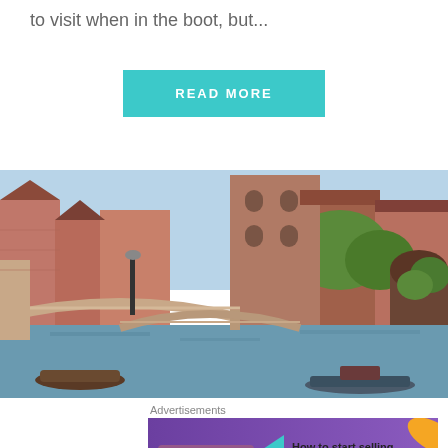to visit when in the boot, but...
READ MORE
[Figure (photo): Venice canal with brick buildings, a stone bridge, and boats on the water. Overlaid large teal text reading 'YOU MORE VENE' (partially cropped).]
Advertisements
[Figure (screenshot): WooCommerce advertisement banner: purple background with WooCommerce logo, teal arrow, and text 'How to start selling subscriptions online'. Orange decorative splash on right.]